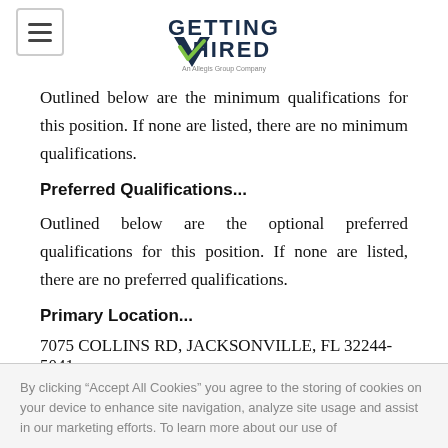Getting Hired — An Allegis Group Company (logo)
Outlined below are the minimum qualifications for this position. If none are listed, there are no minimum qualifications.
Preferred Qualifications...
Outlined below are the optional preferred qualifications for this position. If none are listed, there are no preferred qualifications.
Primary Location...
7075 COLLINS RD, JACKSONVILLE, FL 32244-5041,
By clicking “Accept All Cookies” you agree to the storing of cookies on your device to enhance site navigation, analyze site usage and assist in our marketing efforts. To learn more about our use of